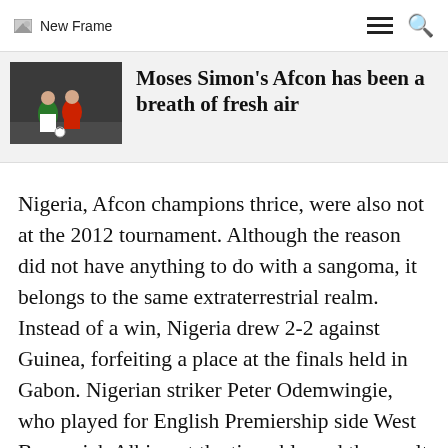New Frame
Moses Simon's Afcon has been a breath of fresh air
[Figure (photo): Two soccer players in action, one in green and white kit, one in red kit, competing for the ball on the pitch.]
Nigeria, Afcon champions thrice, were also not at the 2012 tournament. Although the reason did not have anything to do with a sangoma, it belongs to the same extraterrestrial realm. Instead of a win, Nigeria drew 2-2 against Guinea, forfeiting a place at the finals held in Gabon. Nigerian striker Peter Odemwingie, who played for English Premiership side West Bromwich Albion at the time, blamed the result